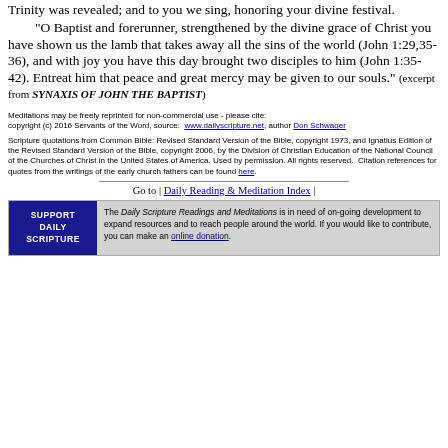Trinity was revealed; and to you we sing, honoring your divine festival.
"O Baptist and forerunner, strengthened by the divine grace of Christ you have shown us the lamb that takes away all the sins of the world (John 1:29,35-36), and with joy you have this day brought two disciples to him (John 1:35-42). Entreat him that peace and great mercy may be given to our souls." (excerpt from SYNAXIS OF JOHN THE BAPTIST)
Meditations may be freely reprinted for non-commercial use - please cite: copyright (c) 2016 Servants of the Word, source: www.dailyscripture.net, author Don Schwager
Scripture quotations from Common Bible: Revised Standard Version of the Bible, copyright 1973, and Ignatius Edition of the Revised Standard Version of the Bible, copyright 2006, by the Division of Christian Education of the National Council of the Churches of Christ in the United States of America. Used by permission. All rights reserved. Citation references for quotes from the writings of the early church fathers can be found here.
Go to | Daily Reading & Meditation Index |
SUPPORT DAILY SCRIPTURE - The Daily Scripture Readings and Meditations is in need of on-going development to expand resources and to reach people around the world. If you would like to contribute, you can make an online donation.